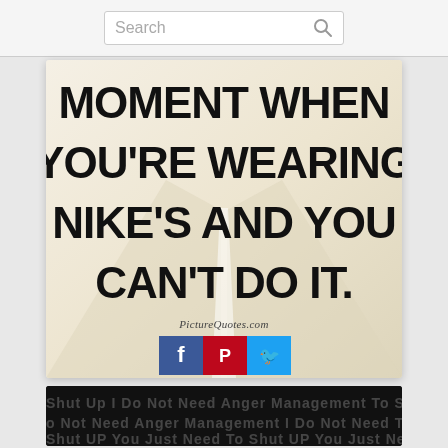Search
[Figure (illustration): Quote image on road/pavement background reading: MOMENT WHEN YOU'RE WEARING NIKE'S AND YOU CAN'T DO IT. with PictureQuotes.com attribution and Facebook, Pinterest, Twitter share buttons below]
[Figure (illustration): Partially visible dark card with repeating text: Shut Up I Do Not Need Anger Management To Shut UP You Just Need To Shut UP You Just Need Anger Management I Do Not Need To Shut UP]